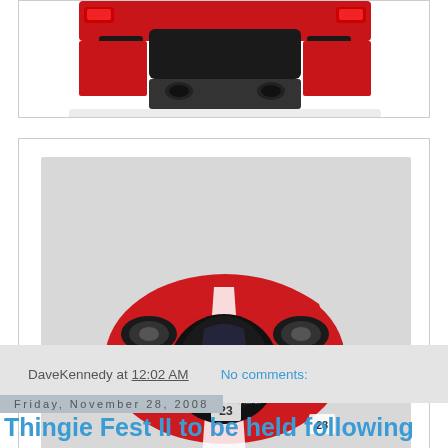[Figure (photo): Partial rear view of a red Ferrari model car (die-cast), showing rear spoiler and body, cropped at top]
[Figure (photo): Red Ferrari FXX race car model #23 with white racing stripe, shown from above-front angle, with Photobucket watermark overlay, light gray background]
DaveKennedy at 12:02 AM    No comments:
Friday, November 28, 2008
Thingie Fest II to be held following "Black Friday"